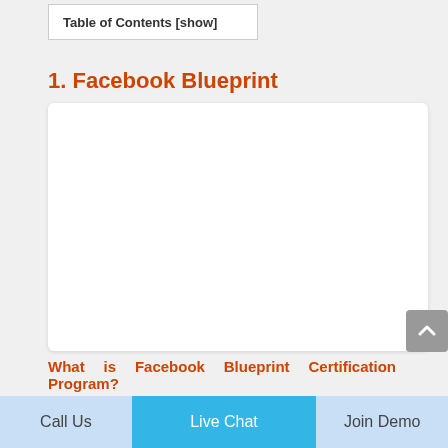Table of Contents [show]
1. Facebook Blueprint
[Figure (other): Empty white content box placeholder area]
What is Facebook Blueprint Certification Program?
Facebook Blueprint is the professional social
Call Us   Live Chat   Join Demo